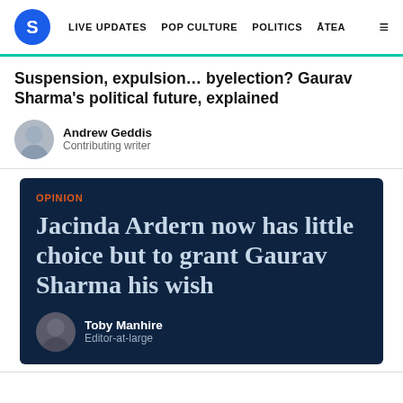S  LIVE UPDATES  POP CULTURE  POLITICS  ĀTEA  ≡
Suspension, expulsion… byelection? Gaurav Sharma's political future, explained
Andrew Geddis
Contributing writer
OPINION
Jacinda Ardern now has little choice but to grant Gaurav Sharma his wish
Toby Manhire
Editor-at-large